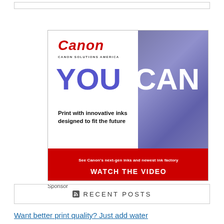[Figure (illustration): Top empty bordered box, partial page element]
[Figure (infographic): Canon Solutions America advertisement. Left white panel with Canon logo in red italic, subtitle 'CANON SOLUTIONS AMERICA', large 'YOU' in purple and 'CAN' in white over photo background, body text 'Print with innovative inks designed to fit the future'. Red bottom bar with text 'See Canon's next-gen inks and newest ink factory' and call to action 'WATCH THE VIDEO'. Right panel shows a photo of a person outdoors in blue-purple tones.]
Sponsor
RECENT POSTS
Want better print quality? Just add water